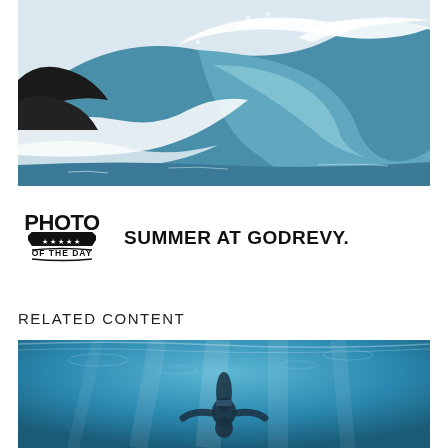[Figure (photo): Large ocean wave curling, photographed from water level showing the wave barrel with white foam and blue-green water, rocky headland visible at left]
[Figure (logo): Photo of the Day badge/stamp logo with stars, text: PHOTO OF THE DAY]
SUMMER AT GODREVY.
RELATED CONTENT
[Figure (photo): Underwater photograph looking up toward the surface showing a person swimming/diving, with rays of light filtering through blue water]